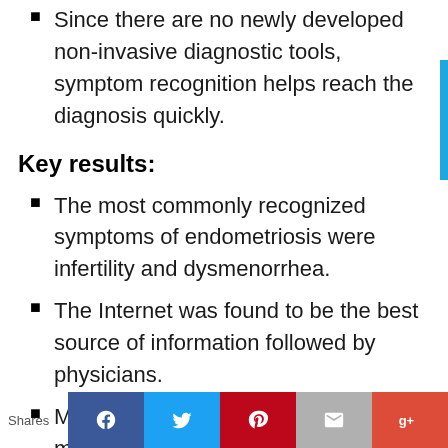Since there are no newly developed non-invasive diagnostic tools, symptom recognition helps reach the diagnosis quickly.
Key results:
The most commonly recognized symptoms of endometriosis were infertility and dysmenorrhea.
The Internet was found to be the best source of information followed by physicians.
Medically occupied participants were more likely to identify the symptoms.
Shares [social share buttons: Facebook, Twitter, Pinterest, Email, Google+]